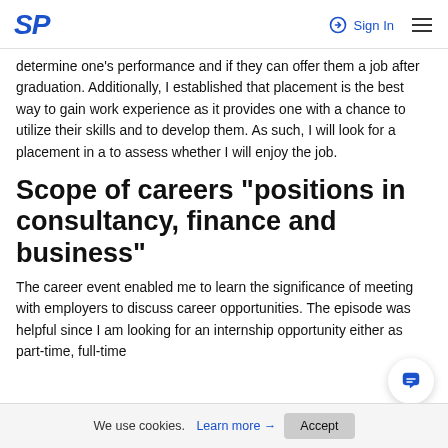SP | Sign In
determine one's performance and if they can offer them a job after graduation. Additionally, I established that placement is the best way to gain work experience as it provides one with a chance to utilize their skills and to develop them. As such, I will look for a placement in a to assess whether I will enjoy the job.
Scope of careers "positions in consultancy, finance and business"
The career event enabled me to learn the significance of meeting with employers to discuss career opportunities. The episode was helpful since I am looking for an internship opportunity either as part-time, full-time
We use cookies. Learn more → Accept